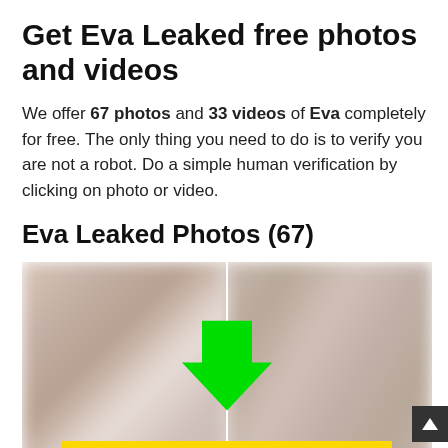Get Eva Leaked free photos and videos
We offer 67 photos and 33 videos of Eva completely for free. The only thing you need to do is to verify you are not a robot. Do a simple human verification by clicking on photo or video.
Eva Leaked Photos (67)
[Figure (photo): Two blurred/censored photos side by side with a green downward arrow overlay and a partially visible yellow button at the bottom with red text]